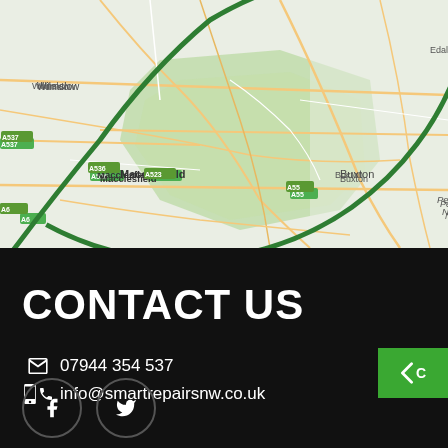[Figure (map): Google Maps view showing Peak District area including Sheffield, Macclesfield, Buxton, Chesterfield, Matlock, Bakewell, Castleton, Edale, Wilmslow, Congleton, Leek, and surrounding road network. A green circle arc is overlaid on the map indicating a service area radius.]
CONTACT US
07944 354 537
info@smartrepairsnw.co.uk